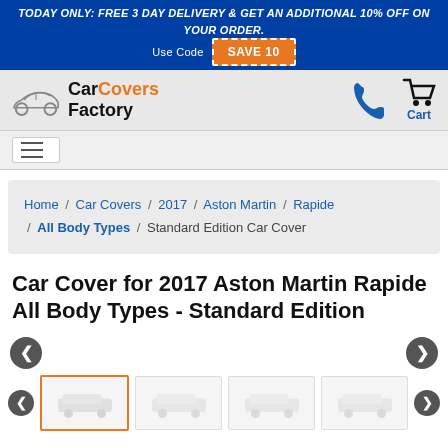TODAY ONLY: FREE 3 DAY DELIVERY & GET AN ADDITIONAL 10% OFF ON YOUR ORDER. Use Code SAVE10
[Figure (logo): Car Covers Factory logo with car silhouette icon]
Home / Car Covers / 2017 / Aston Martin / Rapide / All Body Types / Standard Edition Car Cover
Car Cover for 2017 Aston Martin Rapide All Body Types - Standard Edition
[Figure (screenshot): Product image carousel with navigation arrows and 4 thumbnail images]